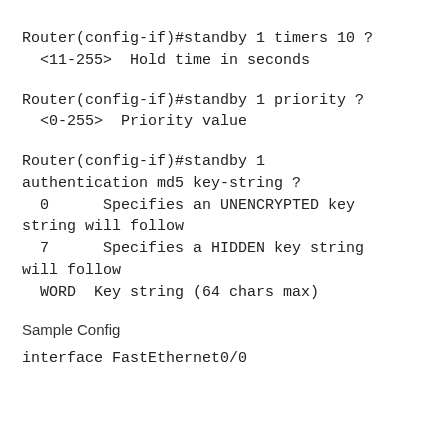Router(config-if)#standby 1 timers 10 ?
  <11-255>  Hold time in seconds
Router(config-if)#standby 1 priority ?
  <0-255>  Priority value
Router(config-if)#standby 1 authentication md5 key-string ?
  0      Specifies an UNENCRYPTED key string will follow
  7      Specifies a HIDDEN key string will follow
  WORD  Key string (64 chars max)
Sample Config
interface FastEthernet0/0